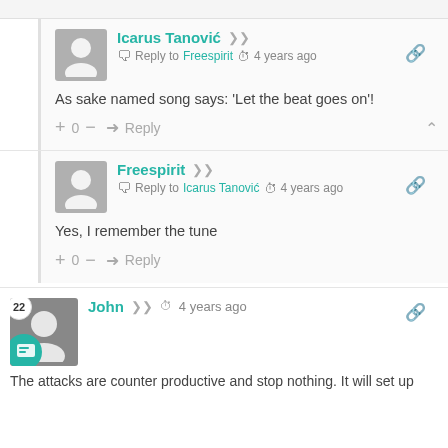Icarus Tanović — Reply to Freespirit · 4 years ago
As sake named song says: 'Let the beat goes on'!
+0 — Reply
Freespirit — Reply to Icarus Tanović · 4 years ago
Yes, I remember the tune
+0 — Reply
John · 4 years ago
The attacks are counter productive and stop nothing. It will set up